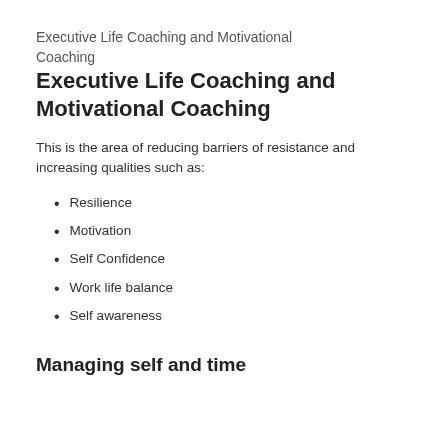Executive Life Coaching and Motivational Coaching
Executive Life Coaching and Motivational Coaching
This is the area of reducing barriers of resistance and increasing qualities such as:
Resilience
Motivation
Self Confidence
Work life balance
Self awareness
Managing self and time